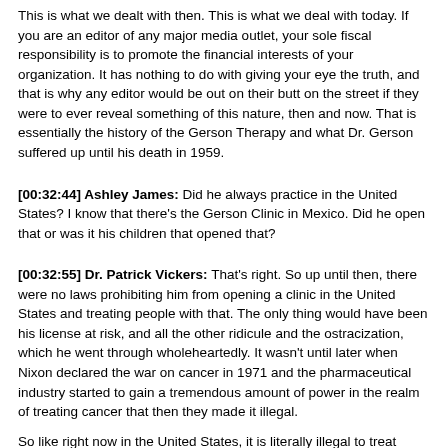This is what we dealt with then. This is what we deal with today. If you are an editor of any major media outlet, your sole fiscal responsibility is to promote the financial interests of your organization. It has nothing to do with giving your eye the truth, and that is why any editor would be out on their butt on the street if they were to ever reveal something of this nature, then and now. That is essentially the history of the Gerson Therapy and what Dr. Gerson suffered up until his death in 1959.
[00:32:44] Ashley James: Did he always practice in the United States? I know that there's the Gerson Clinic in Mexico. Did he open that or was it his children that opened that?
[00:32:55] Dr. Patrick Vickers: That's right. So up until then, there were no laws prohibiting him from opening a clinic in the United States and treating people with that. The only thing would have been his license at risk, and all the other ridicule and the ostracization, which he went through wholeheartedly. It wasn't until later when Nixon declared the war on cancer in 1971 and the pharmaceutical industry started to gain a tremendous amount of power in the realm of treating cancer that then they made it illegal.
So like right now in the United States, it is literally illegal to treat cancer with anything other than chemo, radiation, and surgery, that is the law. If you want to treat people with Gerson Therapy, you cannot do it in the United States. You